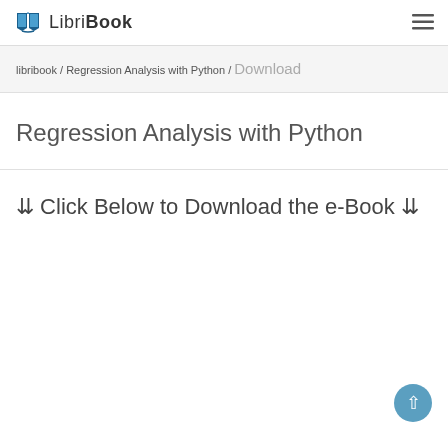LibriBook
libribook / Regression Analysis with Python / Download
Regression Analysis with Python
⇊ Click Below to Download the e-Book ⇊